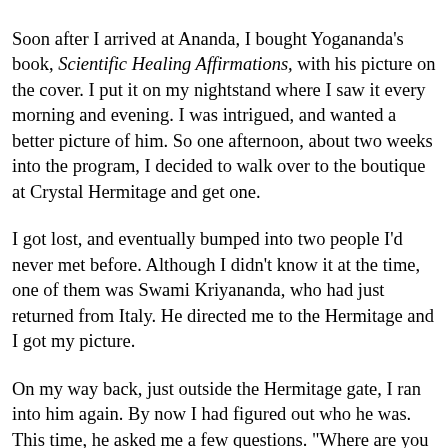he lives in Italy now.
* * *
Soon after I arrived at Ananda, I bought Yogananda's book, Scientific Healing Affirmations, with his picture on the cover. I put it on my nightstand where I saw it every morning and evening. I was intrigued, and wanted a better picture of him. So one afternoon, about two weeks into the program, I decided to walk over to the boutique at Crystal Hermitage and get one.
I got lost, and eventually bumped into two people I'd never met before. Although I didn't know it at the time, one of them was Swami Kriyananda, who had just returned from Italy. He directed me to the Hermitage and I got my picture.
On my way back, just outside the Hermitage gate, I ran into him again. By now I had figured out who he was. This time, he asked me a few questions. "Where are you from? Are you enjoying Ananda?" That sort of thing. He was very kind and very gentle. Not at all like the man described on the website.